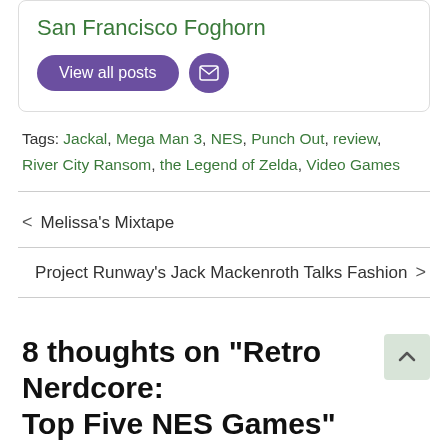San Francisco Foghorn
View all posts
Tags: Jackal, Mega Man 3, NES, Punch Out, review, River City Ransom, the Legend of Zelda, Video Games
< Melissa's Mixtape
Project Runway's Jack Mackenroth Talks Fashion >
8 thoughts on “Retro Nerdcore: Top Five NES Games”